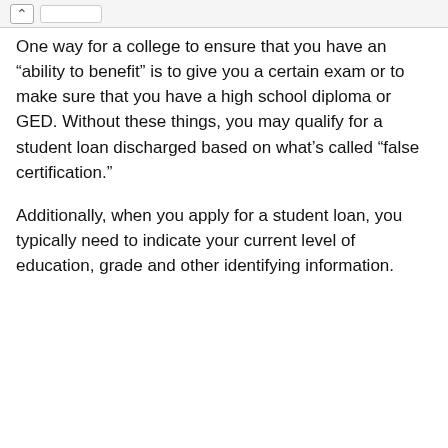One way for a college to ensure that you have an “ability to benefit” is to give you a certain exam or to make sure that you have a high school diploma or GED. Without these things, you may qualify for a student loan discharged based on what’s called “false certification.”
Additionally, when you apply for a student loan, you typically need to indicate your current level of education, grade and other identifying information.